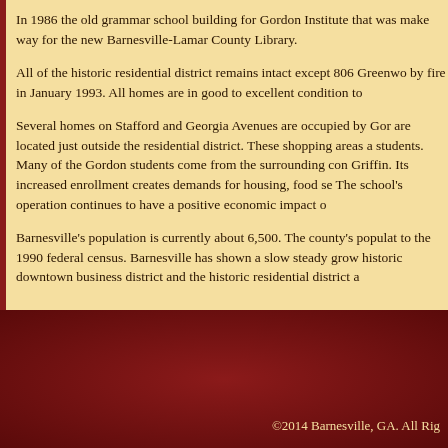In 1986 the old grammar school building for Gordon Institute that was make way for the new Barnesville-Lamar County Library.
All of the historic residential district remains intact except 806 Greenwo by fire in January 1993. All homes are in good to excellent condition to
Several homes on Stafford and Georgia Avenues are occupied by Gor are located just outside the residential district. These shopping areas a students. Many of the Gordon students come from the surrounding con Griffin. Its increased enrollment creates demands for housing, food se The school's operation continues to have a positive economic impact o
Barnesville's population is currently about 6,500. The county's populat to the 1990 federal census. Barnesville has shown a slow steady grow historic downtown business district and the historic residential district a
©2014 Barnesville, GA. All Rig